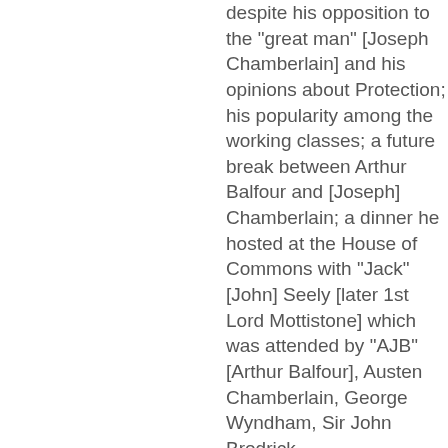despite his opposition to the "great man" [Joseph Chamberlain] and his opinions about Protection; his popularity among the working classes; a future break between Arthur Balfour and [Joseph] Chamberlain; a dinner he hosted at the House of Commons with "Jack" [John] Seely [later 1st Lord Mottistone] which was attended by "AJB" [Arthur Balfour], Austen Chamberlain, George Wyndham, Sir John Brodrick